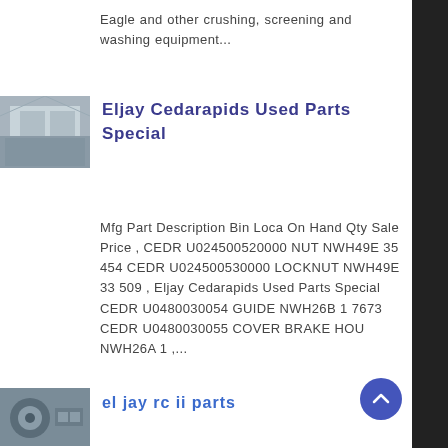Eagle and other crushing, screening and washing equipment...
[Figure (photo): Interior warehouse/building photo showing stored equipment or parts]
Eljay Cedarapids Used Parts Special
Mfg Part Description Bin Loca On Hand Qty Sale Price , CEDR U024500520000 NUT NWH49E 35 454 CEDR U024500530000 LOCKNUT NWH49E 33 509 , Eljay Cedarapids Used Parts Special CEDR U0480030054 GUIDE NWH26B 1 7673 CEDR U0480030055 COVER BRAKE HOU NWH26A 1 ,...
[Figure (photo): Industrial machinery or engine parts photo]
el jay rc ii parts